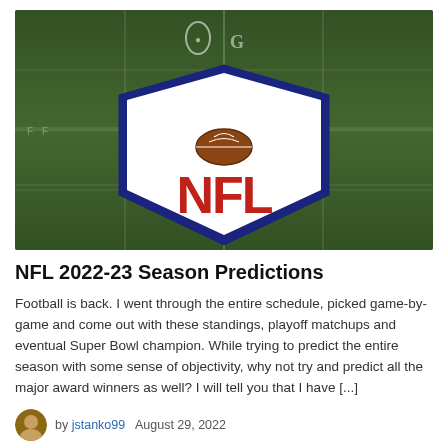[Figure (photo): NFL logo painted on green football field turf, aerial view showing the iconic NFL shield with stars and football above bold red NFL letters on white background with blue shield border]
NFL 2022-23 Season Predictions
Football is back. I went through the entire schedule, picked game-by-game and come out with these standings, playoff matchups and eventual Super Bowl champion. While trying to predict the entire season with some sense of objectivity, why not try and predict all the major award winners as well? I will tell you that I have [...]
by jstanko99   August 29, 2022